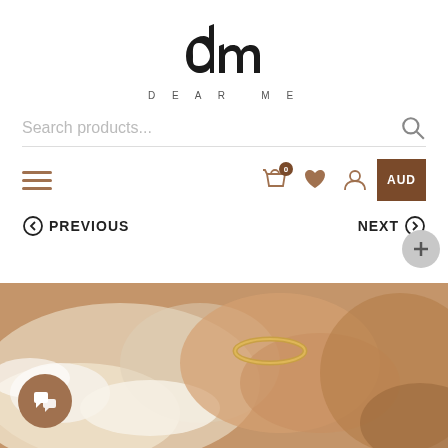[Figure (logo): Dear Me brand logo with cursive 'dm' script above spaced text 'DEAR ME']
Search products...
[Figure (screenshot): Navigation bar with hamburger menu, shopping bag with badge '0', heart icon, user icon, and AUD currency button]
PREVIOUS
NEXT
[Figure (photo): Close-up photo of a hand wearing a gold twisted ring, resting on soft white fur material with warm brown tones]